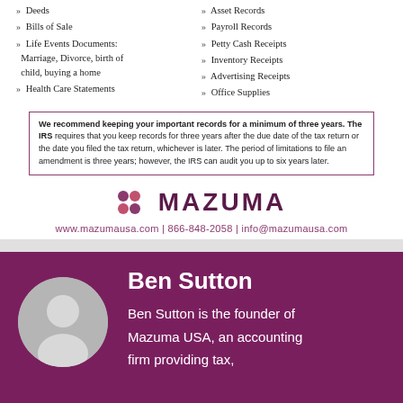» Deeds
» Bills of Sale
» Life Events Documents: Marriage, Divorce, birth of child, buying a home
» Health Care Statements
» Asset Records
» Payroll Records
» Petty Cash Receipts
» Inventory Receipts
» Advertising Receipts
» Office Supplies
We recommend keeping your important records for a minimum of three years. The IRS requires that you keep records for three years after the due date of the tax return or the date you filed the tax return, whichever is later. The period of limitations to file an amendment is three years; however, the IRS can audit you up to six years later.
[Figure (logo): Mazuma logo with colored dot grid and MAZUMA wordmark in dark purple]
www.mazumausa.com | 866-848-2058 | info@mazumausa.com
[Figure (photo): Gray placeholder avatar circle for Ben Sutton]
Ben Sutton
Ben Sutton is the founder of Mazuma USA, an accounting firm providing tax,